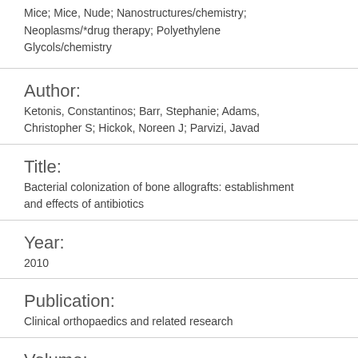Mice; Mice, Nude; Nanostructures/chemistry; Neoplasms/*drug therapy; Polyethylene Glycols/chemistry
Author:
Ketonis, Constantinos; Barr, Stephanie; Adams, Christopher S; Hickok, Noreen J; Parvizi, Javad
Title:
Bacterial colonization of bone allografts: establishment and effects of antibiotics
Year:
2010
Publication:
Clinical orthopaedics and related research
Volume: